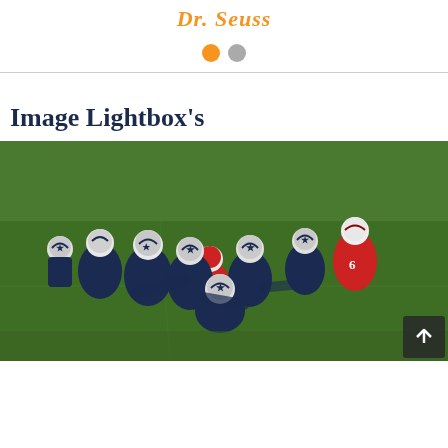Dr. Seuss
[Figure (other): Two navigation indicator dots: one filled orange (active), one gray (inactive)]
Image Lightbox's
[Figure (photo): Youth football game photo: multiple young players in navy blue uniforms with Dallas Cowboys-style star helmets tackling a player in a red uniform, on a green grass field. A scroll-to-top button with an upward arrow is overlaid in the bottom right corner.]